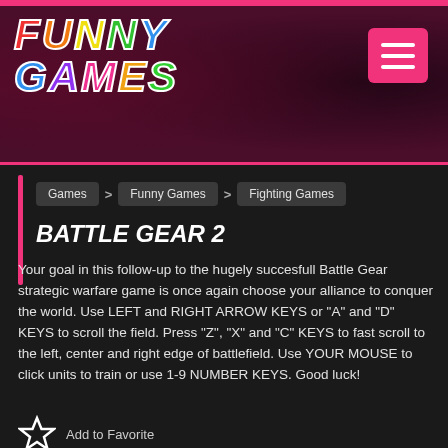[Figure (logo): Funny Games logo with colorful bubble letters on dark maroon background]
Games > Funny Games > Fighting Games
BATTLE GEAR 2
Your goal in this follow-up to the hugely succesfull Battle Gear strategic warfare game is once again choose your alliance to conquer the world. Use LEFT and RIGHT ARROW KEYS or "A" and "D" KEYS to scroll the field. Press "Z", "X" and "C" KEYS to fast scroll to the left, center and right edge of battlefield. Use YOUR MOUSE to click units to train or use 1-9 NUMBER KEYS. Good luck!
Add to Favorite